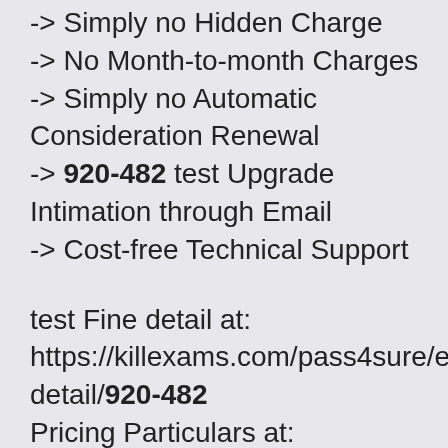-> Simply no Hidden Charge
-> No Month-to-month Charges
-> Simply no Automatic Consideration Renewal
-> 920-482 test Upgrade Intimation through Email
-> Cost-free Technical Support
test Fine detail at: https://killexams.com/pass4sure/exam-detail/920-482
Pricing Particulars at: https://killexams.com/exam-